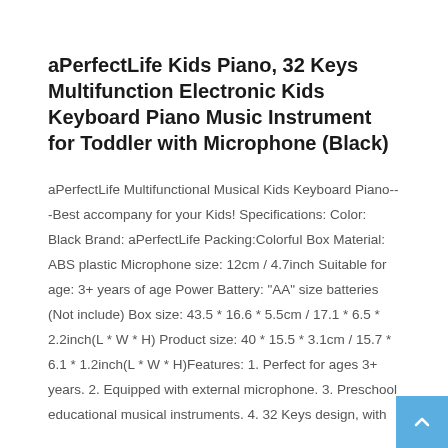aPerfectLife Kids Piano, 32 Keys Multifunction Electronic Kids Keyboard Piano Music Instrument for Toddler with Microphone (Black)
aPerfectLife Multifunctional Musical Kids Keyboard Piano---Best accompany for your Kids! Specifications: Color: Black Brand: aPerfectLife Packing:Colorful Box Material: ABS plastic Microphone size: 12cm / 4.7inch Suitable for age: 3+ years of age Power Battery: "AA" size batteries (Not include) Box size: 43.5 * 16.6 * 5.5cm / 17.1 * 6.5 * 2.2inch(L * W * H) Product size: 40 * 15.5 * 3.1cm / 15.7 * 6.1 * 1.2inch(L * W * H)Features: 1. Perfect for ages 3+ years. 2. Equipped with external microphone. 3. Preschool educational musical instruments. 4. 32 Keys design, with